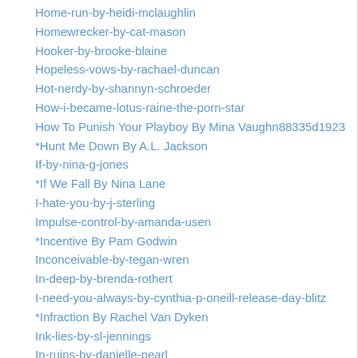Home-run-by-heidi-mclaughlin
Homewrecker-by-cat-mason
Hooker-by-brooke-blaine
Hopeless-vows-by-rachael-duncan
Hot-nerdy-by-shannyn-schroeder
How-i-became-lotus-raine-the-porn-star
How To Punish Your Playboy By Mina Vaughn88335d1923
*Hunt Me Down By A.L. Jackson
If-by-nina-g-jones
*If We Fall By Nina Lane
I-hate-you-by-j-sterling
Impulse-control-by-amanda-usen
*Incentive By Pam Godwin
Inconceivable-by-tegan-wren
In-deep-by-brenda-rothert
I-need-you-always-by-cynthia-p-oneill-release-day-blitz
*Infraction By Rachel Van Dyken
Ink-lies-by-sl-jennings
In-ruins-by-danielle-pearl
Inside-out-by-lia-riley
Instigation-by-tessa-teevan
Interrogation-by-angie-mcpherson